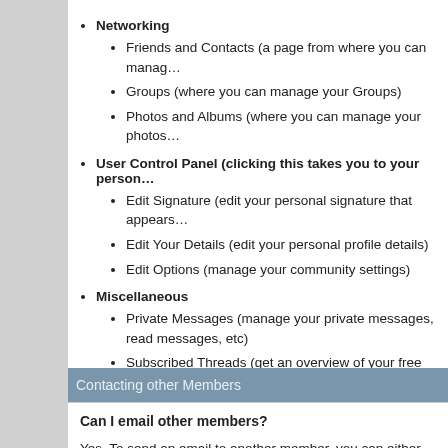Networking
Friends and Contacts (a page from where you can manage...
Groups (where you can manage your Groups)
Photos and Albums (where you can manage your photos...
User Control Panel (clicking this takes you to your personal...
Edit Signature (edit your personal signature that appears...
Edit Your Details (edit your personal profile details)
Edit Options (manage your community settings)
Miscellaneous
Private Messages (manage your private messages, read messages, etc)
Subscribed Threads (get an overview of your free subscribed threads and manage them)
Your Profile (loads your social profile)
Who's Online (see which users who are currently online and what they are doing)
Contacting other Members
Can I email other members?
Yes. To send an email to another member, you can either find them... @ Send Email option from the username menu in any post they ha...